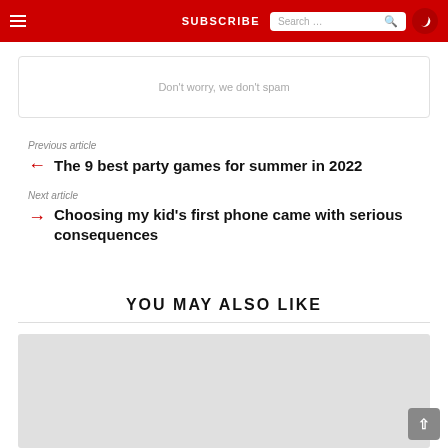SUBSCRIBE
Don't worry, we don't spam
Previous article
The 9 best party games for summer in 2022
Next article
Choosing my kid's first phone came with serious consequences
YOU MAY ALSO LIKE
[Figure (photo): Gray placeholder image area at bottom of page]